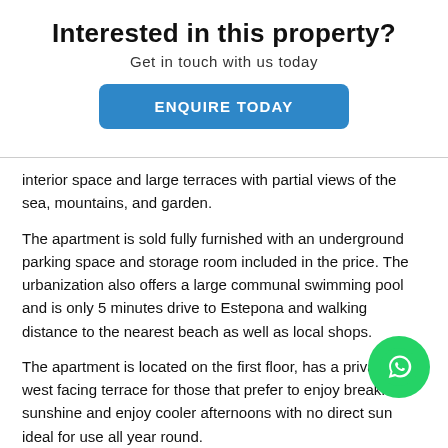Interested in this property?
Get in touch with us today
ENQUIRE TODAY
interior space and large terraces with partial views of the sea, mountains, and garden.
The apartment is sold fully furnished with an underground parking space and storage room included in the price. The urbanization also offers a large communal swimming pool and is only 5 minutes drive to Estepona and walking distance to the nearest beach as well as local shops.
The apartment is located on the first floor, has a private east-west facing terrace for those that prefer to enjoy breakfast sunshine and enjoy cooler afternoons with no direct sun ideal for use all year round.
[Figure (logo): WhatsApp contact button (green circle with phone handset icon)]